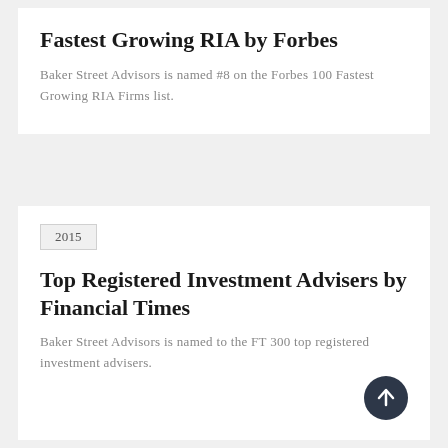Fastest Growing RIA by Forbes
Baker Street Advisors is named #8 on the Forbes 100 Fastest Growing RIA Firms list.
2015
Top Registered Investment Advisers by Financial Times
Baker Street Advisors is named to the FT 300 top registered investment advisers.